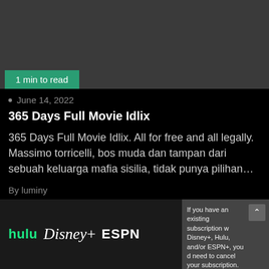[Figure (screenshot): Dark gray banner image area at top of article]
1 min to read
June 14, 2022
365 Days Full Movie Idlix
365 Days Full Movie Idlix. All for free and all legally. Massimo torricelli, bos muda dan tampan dari sebuah keluarga mafia sisilia, tidak punya pilihan…
By luminy
[Figure (screenshot): Bottom advertisement showing Hulu, Disney+, ESPN+ logos alongside a popup text about existing subscriptions]